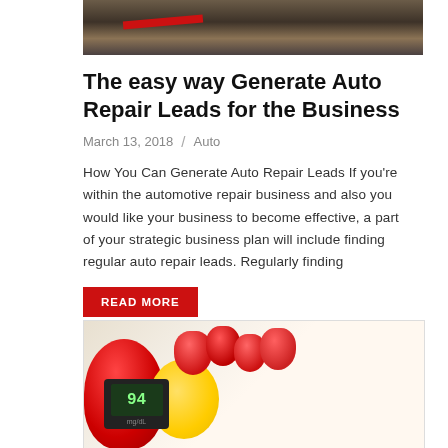[Figure (photo): Top image showing auto repair tools on dark background with red element]
The easy way Generate Auto Repair Leads for the Business
March 13, 2018  /  Auto
How You Can Generate Auto Repair Leads If you're within the automotive repair business and also you would like your business to become effective, a part of your strategic business plan will include finding regular auto repair leads. Regularly finding
READ MORE
[Figure (photo): Bottom image showing a glucose meter with red fruits including strawberries, red pepper, and yellow lemon]